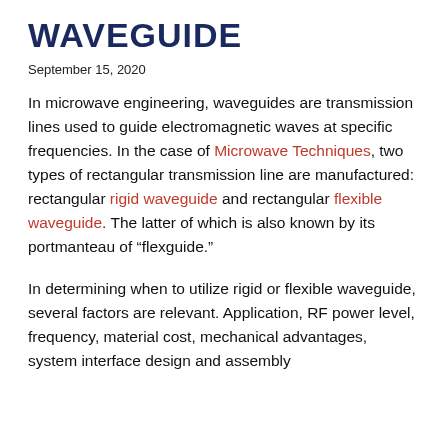WAVEGUIDE
September 15, 2020
In microwave engineering, waveguides are transmission lines used to guide electromagnetic waves at specific frequencies. In the case of Microwave Techniques, two types of rectangular transmission line are manufactured: rectangular rigid waveguide and rectangular flexible waveguide. The latter of which is also known by its portmanteau of “flexguide.”
In determining when to utilize rigid or flexible waveguide, several factors are relevant. Application, RF power level, frequency, material cost, mechanical advantages, system interface design and assembly